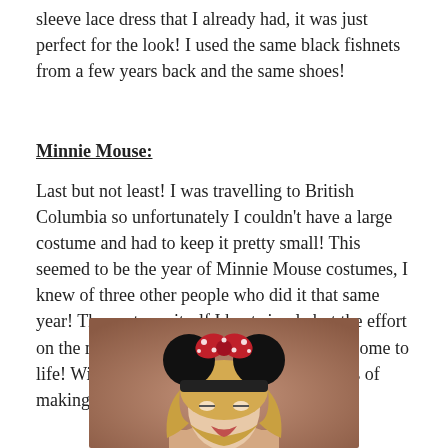sleeve lace dress that I already had, it was just perfect for the look! I used the same black fishnets from a few years back and the same shoes!
Minnie Mouse:
Last but not least! I was travelling to British Columbia so unfortunately I couldn't have a large costume and had to keep it pretty small! This seemed to be the year of Minnie Mouse costumes, I knew of three other people who did it that same year! The costume itself I kept simple but the effort on the make-up really made Minnie Mouse come to life! With this costume I put my mom's years of making children's costumes back to the test!
[Figure (photo): A blonde woman wearing black Minnie Mouse ears with a red polka-dot bow on top, photographed from the shoulders up against a warm beige/pink background.]